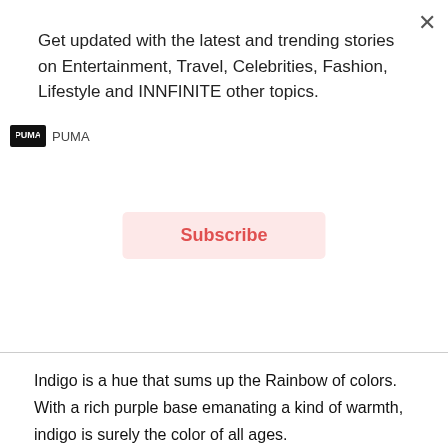Get updated with the latest and trending stories on Entertainment, Travel, Celebrities, Fashion, Lifestyle and INNFINITE other topics.
Subscribe
Indigo is a hue that sums up the Rainbow of colors. With a rich purple base emanating a kind of warmth, indigo is surely the color of all ages.
PERIWINKLE
[Figure (photo): Partial view of a flower or plant with blue/purple tones, shown in an image strip]
[Figure (infographic): Advertisement for The PUMA RS Collection showing sneakers and Shop Now button]